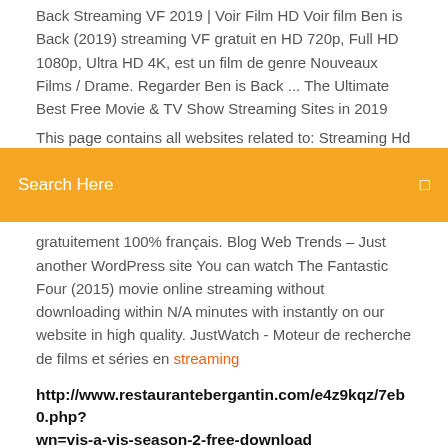Back Streaming VF 2019 | Voir Film HD Voir film Ben is Back (2019) streaming VF gratuit en HD 720p, Full HD 1080p, Ultra HD 4K, est un film de genre Nouveaux Films / Drame. Regarder Ben is Back ... The Ultimate Best Free Movie & TV Show Streaming Sites in 2019
This page contains all websites related to: Streaming Hd [2019]
[Figure (other): Orange search bar overlay with text 'Search Here' and a search icon on the right]
gratuitement 100% français. Blog Web Trends – Just another WordPress site You can watch The Fantastic Four (2015) movie online streaming without downloading within N/A minutes with instantly on our website in high quality. JustWatch - Moteur de recherche de films et séries en streaming
http://www.restaurantebergantin.com/e4z9kqz/7eb0.php?wn=vis-a-vis-season-2-free-download
Site film streaming francais 2019 télécharger enligne | Voirfilms